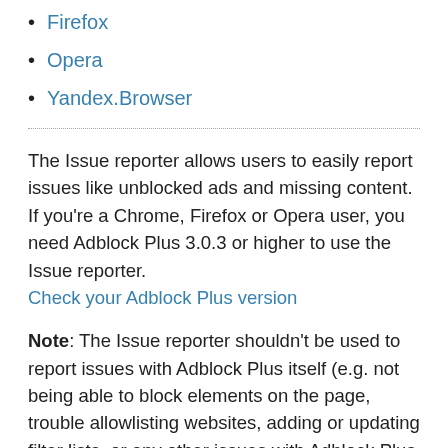Firefox
Opera
Yandex.Browser
The Issue reporter allows users to easily report issues like unblocked ads and missing content. If you're a Chrome, Firefox or Opera user, you need Adblock Plus 3.0.3 or higher to use the Issue reporter. Check your Adblock Plus version
Note: The Issue reporter shouldn't be used to report issues with Adblock Plus itself (e.g. not being able to block elements on the page, trouble allowlisting websites, adding or updating filter lists, or any other issues with Adblock Plus settings). To report these types of issues, please contact our Support team at support@adblockplus.org.